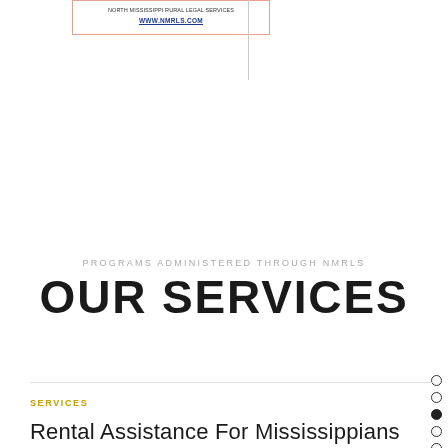[Figure (other): Two side-by-side bordered card boxes with text and URL WWW.NMRLS.COM, separated by a vertical divider line]
WWW.NMRLS.COM
WWW.NMRLS.COM
PROGRAMS ADMINISTERED THROUGH NMRLS
OUR SERVICES
SERVICES
Rental Assistance For Mississippians